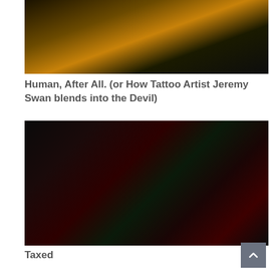[Figure (photo): Dark cinematic still of a woman's face lit with amber/yellow light, partially obscured, moody atmosphere]
Human, After All. (or How Tattoo Artist Jeremy Swan blends into the Devil)
[Figure (photo): Two men in a dark scene with red and green neon lighting, one facing away and one facing camera]
Taxed